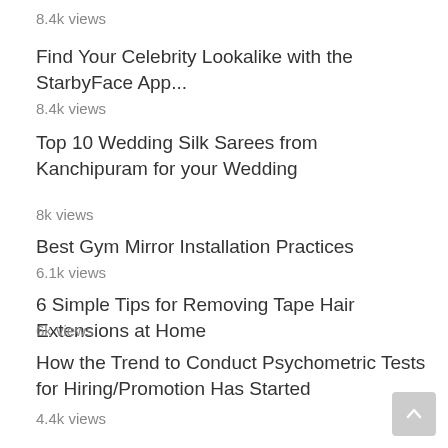8.4k views
Find Your Celebrity Lookalike with the StarbyFace App...
8.4k views
Top 10 Wedding Silk Sarees from Kanchipuram for your Wedding
8k views
Best Gym Mirror Installation Practices
6.1k views
6 Simple Tips for Removing Tape Hair Extensions at Home
6k views
How the Trend to Conduct Psychometric Tests for Hiring/Promotion Has Started
4.4k views
The Dangers of At-Home Facial Aesthetics You'll Want to